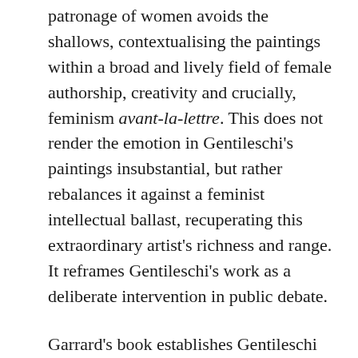patronage of women avoids the shallows, contextualising the paintings within a broad and lively field of female authorship, creativity and crucially, feminism avant-la-lettre. This does not render the emotion in Gentileschi's paintings insubstantial, but rather rebalances it against a feminist intellectual ballast, recuperating this extraordinary artist's richness and range. It reframes Gentileschi's work as a deliberate intervention in public debate.
Garrard's book establishes Gentileschi very firmly as a player within the artistic and intellectual networks spanning Europe's great courts and cities. This is really fascinating stuff, which, moreover, serves to situate